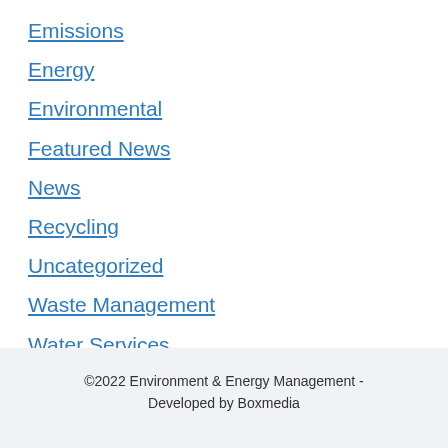Emissions
Energy
Environmental
Featured News
News
Recycling
Uncategorized
Waste Management
Water Services
©2022 Environment & Energy Management - Developed by Boxmedia